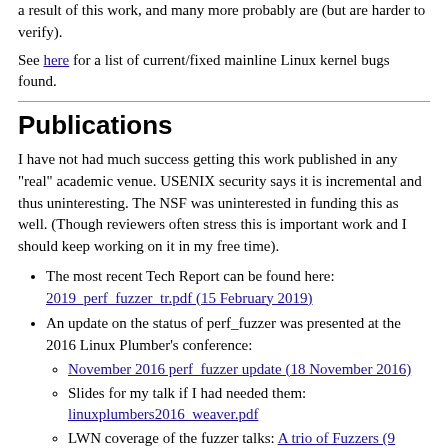a result of this work, and many more probably are (but are harder to verify).
See here for a list of current/fixed mainline Linux kernel bugs found.
Publications
I have not had much success getting this work published in any "real" academic venue. USENIX security says it is incremental and thus uninteresting. The NSF was uninterested in funding this as well. (Though reviewers often stress this is important work and I should keep working on it in my free time).
The most recent Tech Report can be found here: 2019_perf_fuzzer_tr.pdf (15 February 2019)
An update on the status of perf_fuzzer was presented at the 2016 Linux Plumber's conference:
November 2016 perf_fuzzer update (18 November 2016)
Slides for my talk if I had needed them: linuxplumbers2016_weaver.pdf
LWN coverage of the fuzzer talks: A trio of Fuzzers (9 November 2016)